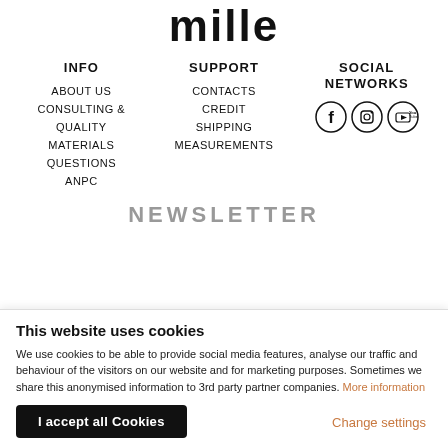mille
INFO
ABOUT US
CONSULTING & QUALITY
MATERIALS
QUESTIONS
ANPC
SUPPORT
CONTACTS
CREDIT
SHIPPING
MEASUREMENTS
SOCIAL NETWORKS
[Figure (illustration): Social media icons: Facebook, Instagram, YouTube]
NEWSLETTER
This website uses cookies
We use cookies to be able to provide social media features, analyse our traffic and behaviour of the visitors on our website and for marketing purposes. Sometimes we share this anonymised information to 3rd party partner companies. More information
I accept all Cookies
Change settings